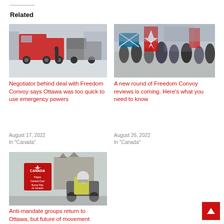Related
[Figure (photo): Tow truck and large truck in snowy urban street scene, police officer standing nearby]
Negotiator behind deal with Freedom Convoy says Ottawa was too quick to use emergency powers
August 17, 2022
In "Canada"
[Figure (photo): Crowd of protesters holding Canadian flags and other national flags in winter outdoor setting]
A new round of Freedom Convoy reviews is coming. Here's what you need to know
August 26, 2022
In "Canada"
[Figure (photo): Police officer on motorcycle in front of Canada Day signage and Parliament buildings]
Anti-mandate groups return to Ottawa, but future of movement uncertain amid